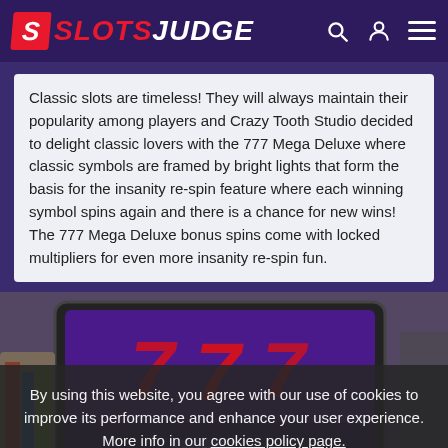SLOTSJUDGE
Classic slots are timeless! They will always maintain their popularity among players and Crazy Tooth Studio decided to delight classic lovers with the 777 Mega Deluxe where classic symbols are framed by bright lights that form the basis for the insanity re-spin feature where each winning symbol spins again and there is a chance for new wins! The 777 Mega Deluxe bonus spins come with locked multipliers for even more insanity re-spin fun.
[Figure (photo): A tablet/laptop screen showing the 777 Mega Deluxe slot game with large red 7 symbols displayed on the game screen.]
By using this website, you agree with our use of cookies to improve its performance and enhance your user experience. More info in our cookies policy page.